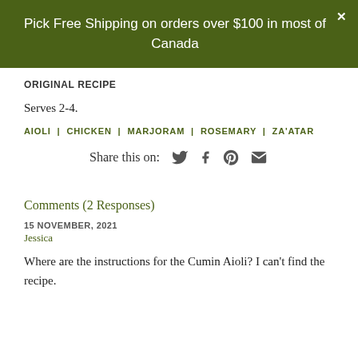Pick Free Shipping on orders over $100 in most of Canada
ORIGINAL RECIPE
Serves 2-4.
AIOLI | CHICKEN | MARJORAM | ROSEMARY | ZA'ATAR
Share this on:
Comments (2 Responses)
15 NOVEMBER, 2021
Jessica
Where are the instructions for the Cumin Aioli? I can't find the recipe.